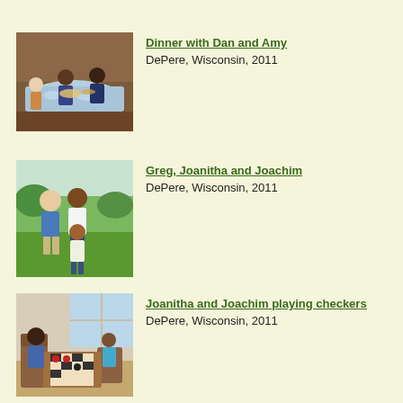[Figure (photo): Family dining at a table with a floral tablecloth, chandelier overhead, indoor setting]
Dinner with Dan and Amy
DePere, Wisconsin, 2011
[Figure (photo): Three people standing outdoors on grass: a man, a woman in white, and a child]
Greg, Joanitha and Joachim
DePere, Wisconsin, 2011
[Figure (photo): Woman and child sitting at a table playing checkers indoors near a window]
Joanitha and Joachim playing checkers
DePere, Wisconsin, 2011